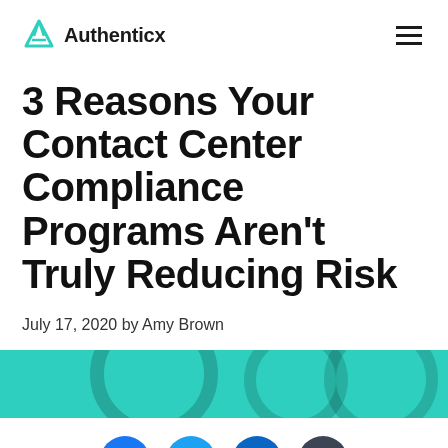Authenticx
3 Reasons Your Contact Center Compliance Programs Aren't Truly Reducing Risk
July 17, 2020 by Amy Brown
[Figure (illustration): Teal/turquoise decorative banner with curved dark circular arc shapes]
[Figure (infographic): Social share buttons: Facebook (blue), Twitter (light blue), LinkedIn (dark blue), Copy (dark gray)]